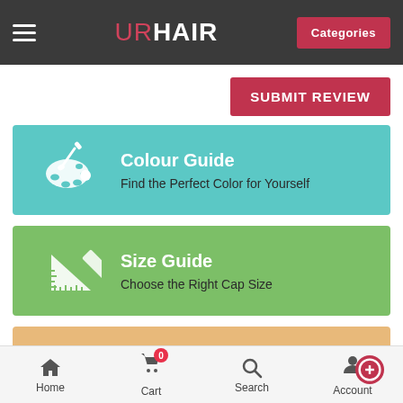URHAIR — Categories
SUBMIT REVIEW
Colour Guide
Find the Perfect Color for Yourself
Size Guide
Choose the Right Cap Size
Remy Hair vs Synthetic
Experience the Different Advantages
Home  Cart  Search  Account